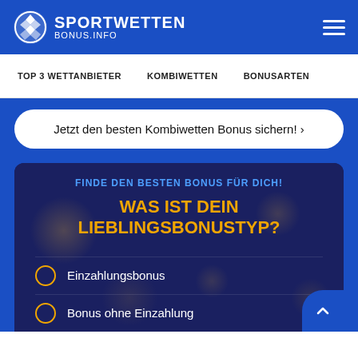[Figure (logo): Sportwetten Bonus.Info logo with soccer ball icon and white text]
TOP 3 WETTANBIETER   KOMBIWETTEN   BONUSARTEN
Jetzt den besten Kombiwetten Bonus sichern! ›
FINDE DEN BESTEN BONUS FÜR DICH!
WAS IST DEIN LIEBLINGSBONUS TYP?
Einzahlungsbonus
Bonus ohne Einzahlung